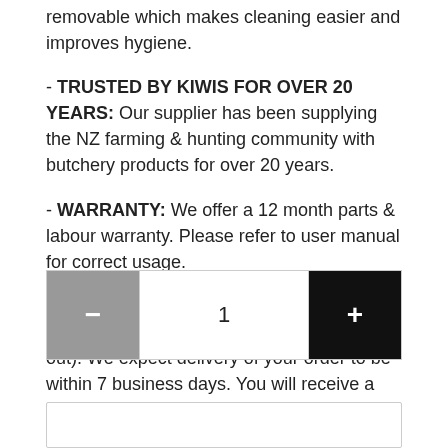removable which makes cleaning easier and improves hygiene.
- TRUSTED BY KIWIS FOR OVER 20 YEARS: Our supplier has been supplying the NZ farming & hunting community with butchery products for over 20 years.
- WARRANTY: We offer a 12 month parts & labour warranty. Please refer to user manual for correct usage.
- SHIPPING: Nationwide shipping is additional $35 (to be added during check out). We expect delivery of your order to be within 7 business days. You will receive a tracking no. Full shipping details can be found here.
[Figure (other): Quantity spinner widget with minus button (grey), count showing 1, and plus button (black)]
[Figure (other): Input field / text box at the bottom of the page]